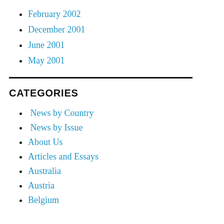February 2002
December 2001
June 2001
May 2001
CATEGORIES
News by Country
News by Issue
About Us
Articles and Essays
Australia
Austria
Belgium